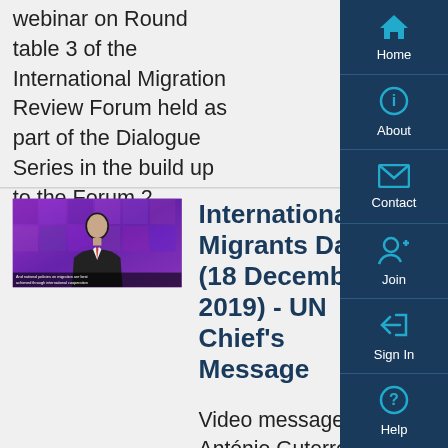webinar on Round table 3 of the International Migration Review Forum held as part of the Dialogue Series in the build up to the Forum 2 February 2022.
[Figure (screenshot): Video thumbnail showing a man in a suit speaking at a podium against a purple background, with caption text overlay reading 'And national policies on migration are best achieved through international cooperation']
International Migrants Day (18 December 2019) - UN Chief's Message
Video message by António Guterres, United Nations Secretary-